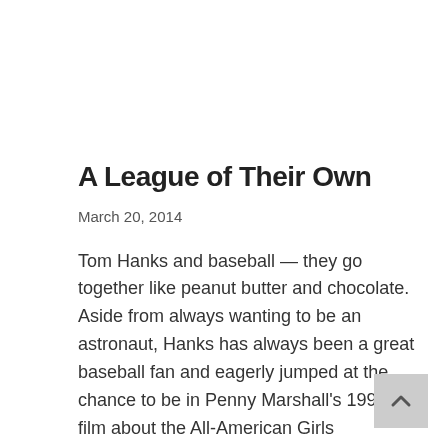A League of Their Own
March 20, 2014
Tom Hanks and baseball — they go together like peanut butter and chocolate. Aside from always wanting to be an astronaut, Hanks has always been a great baseball fan and eagerly jumped at the chance to be in Penny Marshall's 1992 film about the All-American Girls Professional Baseball League. The film is